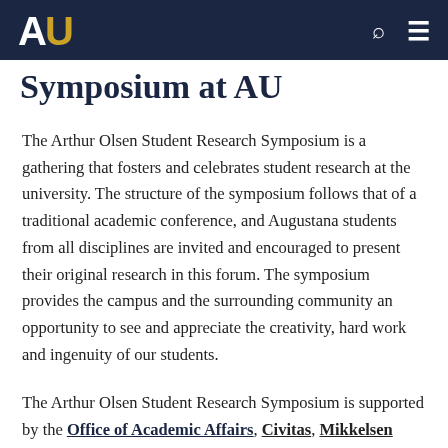AU [logo] [search icon] [menu icon]
Symposium at AU
The Arthur Olsen Student Research Symposium is a gathering that fosters and celebrates student research at the university. The structure of the symposium follows that of a traditional academic conference, and Augustana students from all disciplines are invited and encouraged to present their original research in this forum. The symposium provides the campus and the surrounding community an opportunity to see and appreciate the creativity, hard work and ingenuity of our students.
The Arthur Olsen Student Research Symposium is supported by the Office of Academic Affairs, Civitas, Mikkelsen Library and UBC